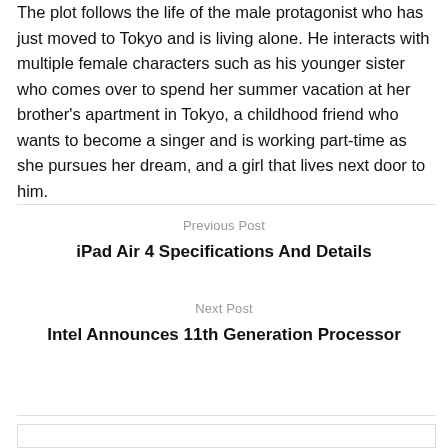The plot follows the life of the male protagonist who has just moved to Tokyo and is living alone. He interacts with multiple female characters such as his younger sister who comes over to spend her summer vacation at her brother's apartment in Tokyo, a childhood friend who wants to become a singer and is working part-time as she pursues her dream, and a girl that lives next door to him.
Previous Post
iPad Air 4 Specifications And Details
Next Post
Intel Announces 11th Generation Processor